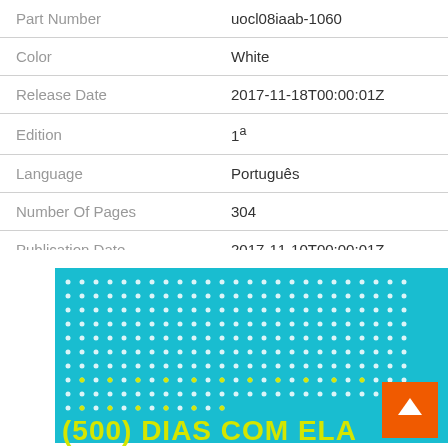|  |  |
| --- | --- |
| Part Number | uocl08iaab-1060 |
| Color | White |
| Release Date | 2017-11-18T00:00:01Z |
| Edition | 1ª |
| Language | Português |
| Number Of Pages | 304 |
| Publication Date | 2017-11-10T00:00:01Z |
[Figure (photo): Book cover of '(500) DIAS COM ELA' on a cyan/turquoise background with a white dot pattern grid and yellow-green title text at the bottom]